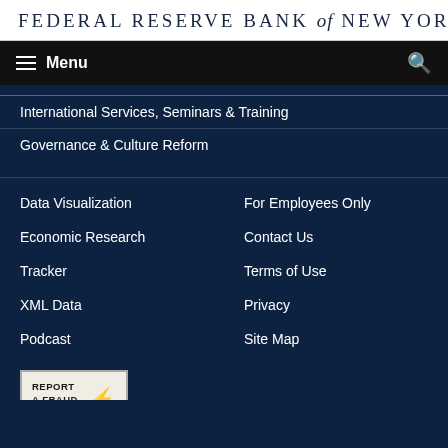FEDERAL RESERVE BANK of NEW YORK
Menu
International Services, Seminars & Training
Governance & Culture Reform
Data Visualization
For Employees Only
Economic Research
Contact Us
Tracker
Terms of Use
XML Data
Privacy
Podcast
Site Map
[Figure (logo): Report a Fraud or Scam badge with exclamation mark icon]